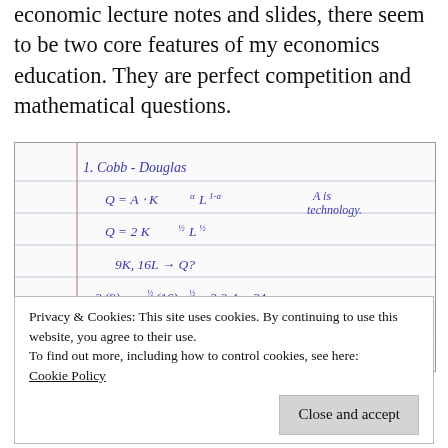economic lecture notes and slides, there seem to be two core features of my economics education. They are perfect competition and mathematical questions.
[Figure (photo): Handwritten notebook page showing Cobb-Douglas production function notes. Line 1: '1. Cobb-Douglas'. Line 2: 'Q = A · K^α L^(1-α)' with 'A is technology' written to the right. Line 3: 'Q = 2 K^(1/2) L^(1/2)'. Line 4: '9K, 16L → Q?'. Line 5: '= 2(9)^(1/2)(16)^(1/2) = 2·3·4 = 24'. The notebook has horizontal ruled lines and a vertical margin line.]
Privacy & Cookies: This site uses cookies. By continuing to use this website, you agree to their use.
To find out more, including how to control cookies, see here:
Cookie Policy
Close and accept